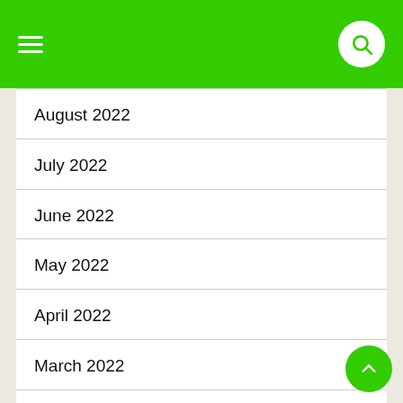Navigation header with hamburger menu and search button
August 2022
July 2022
June 2022
May 2022
April 2022
March 2022
February 2022
January 2022
December 2021